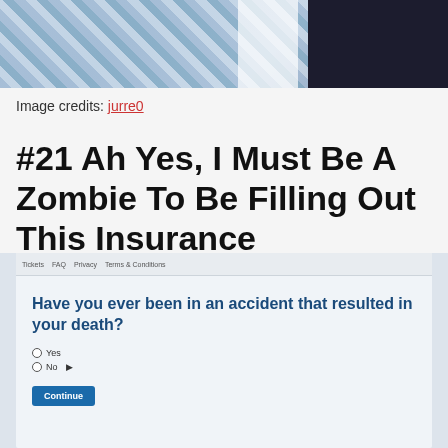[Figure (photo): Top portion of a photo showing blue striped fabric and a dark background area]
Image credits: jurre0
#21 Ah Yes, I Must Be A Zombie To Be Filling Out This Insurance Application
[Figure (screenshot): Screenshot of an insurance application form with the question 'Have you ever been in an accident that resulted in your death?' with Yes/No radio buttons and a Continue button]